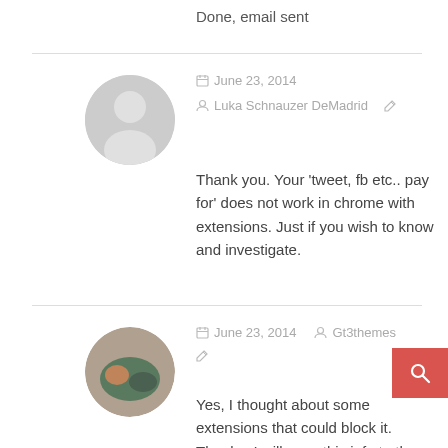Done, email sent
June 23, 2014
Luka Schnauzer DeMadrid
Thank you. Your ‘tweet, fb etc.. pay for’ does not work in chrome with extensions. Just if you wish to know and investigate.
June 23, 2014  Gt3themes
Yes, I thought about some extensions that could block it. Thanks. I will pass this info to the